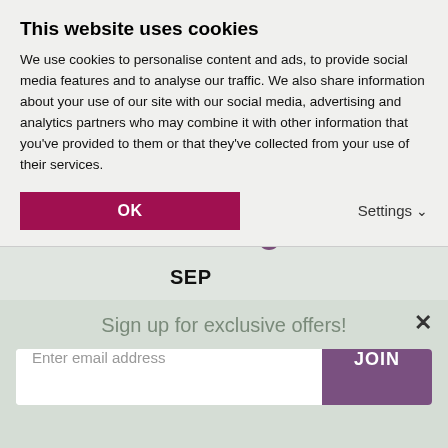This website uses cookies
We use cookies to personalise content and ads, to provide social media features and to analyse our traffic. We also share information about your use of our site with our social media, advertising and analytics partners who may combine it with other information that you've provided to them or that they've collected from your use of their services.
OK
Settings
JUL
AUG
SEP
OCT
NOV
Sign up for exclusive offers!
Enter email address
JOIN